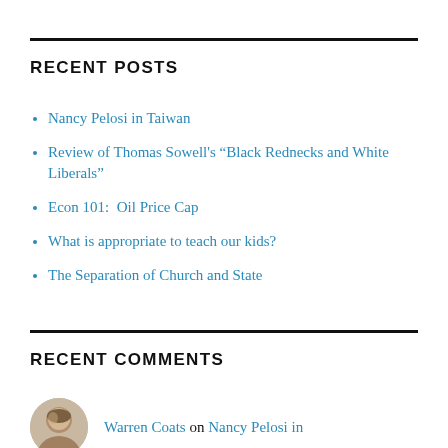RECENT POSTS
Nancy Pelosi in Taiwan
Review of Thomas Sowell's “Black Rednecks and White Liberals”
Econ 101:  Oil Price Cap
What is appropriate to teach our kids?
The Separation of Church and State
RECENT COMMENTS
Warren Coats on Nancy Pelosi in